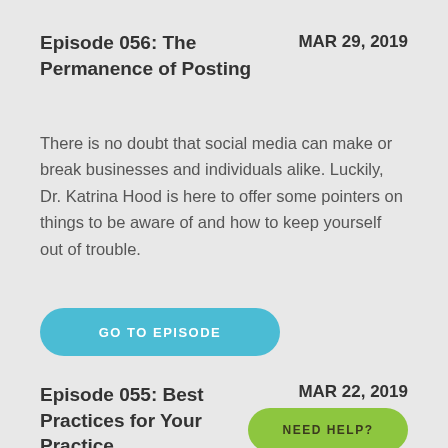Episode 056: The Permanence of Posting
MAR 29, 2019
There is no doubt that social media can make or break businesses and individuals alike. Luckily, Dr. Katrina Hood is here to offer some pointers on things to be aware of and how to keep yourself out of trouble.
[Figure (other): Blue rounded button labeled GO TO EPISODE]
Episode 055: Best Practices for Your Practice
MAR 22, 2019
[Figure (other): Green rounded button labeled NEED HELP?]